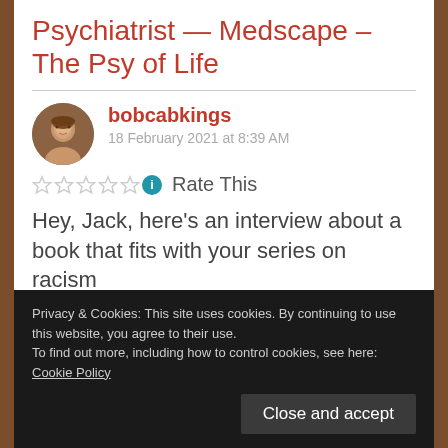Psychiatrist — Medscape – The Psy of Life
bobcabkings
18 February 2021 at 8:39 AM
Rate This
Hey, Jack, here's an interview about a book that fits with your series on racism
Privacy & Cookies: This site uses cookies. By continuing to use this website, you agree to their use.
To find out more, including how to control cookies, see here: Cookie Policy
Close and accept
Trumpism.